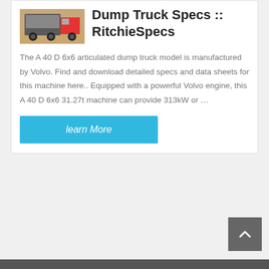[Figure (photo): Partial view of a dump truck on sandy/desert ground]
Dump Truck Specs :: RitchieSpecs
The A 40 D 6x6 articulated dump truck model is manufactured by Volvo. Find and download detailed specs and data sheets for this machine here.. Equipped with a powerful Volvo engine, this A 40 D 6x6 31.27t machine can provide 313kW or …
learn More